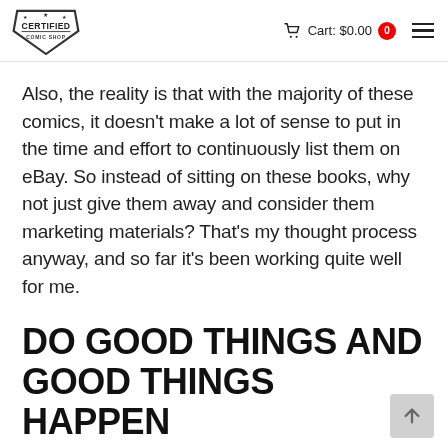Certified Comic Shop | Cart: $0.00 | 0
Also, the reality is that with the majority of these comics, it doesn't make a lot of sense to put in the time and effort to continuously list them on eBay. So instead of sitting on these books, why not just give them away and consider them marketing materials? That's my thought process anyway, and so far it's been working quite well for me.
DO GOOD THINGS AND GOOD THINGS HAPPEN